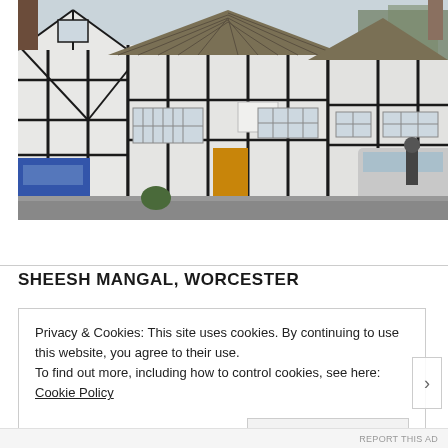[Figure (photo): Exterior photograph of a row of black-and-white timber-framed buildings with thatched and tiled roofs in Worcester. A silver estate car is parked in front, a blue van is on the left, and a pedestrian walks on the right pavement. The sky is overcast.]
SHEESH MANGAL, WORCESTER
Privacy & Cookies: This site uses cookies. By continuing to use this website, you agree to their use.
To find out more, including how to control cookies, see here: Cookie Policy
Close and accept